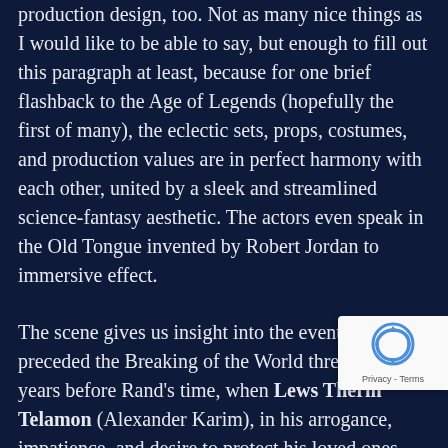production design, too. Not as many nice things as I would like to be able to say, but enough to fill out this paragraph at least, because for one brief flashback to the Age of Legends (hopefully the first of many), the eclectic sets, props, costumes, and production values are in perfect harmony with each other, united by a sleek and streamlined science-fantasy aesthetic. The actors even speak in the Old Tongue invented by Robert Jordan to immersive effect.
The scene gives us insight into the events that preceded the Breaking of the World three-thousand years before Rand's time, when Lews Therin Telamon (Alexander Karim), in his arrogance, impatience, and desire to protect his loved ones, foolishly chose to try seal the Dark One away forever, ignoring warnings from the Tamyrlin Seat that he would expose the male half of the One Power to the Dark One's corrosive influence in so doing. Rand al'Thor, Lews Therin's reincarnation in the
[Figure (other): reCAPTCHA badge overlay in lower right corner showing the reCAPTCHA logo (circular arrows icon) and 'Privacy - Terms' text]